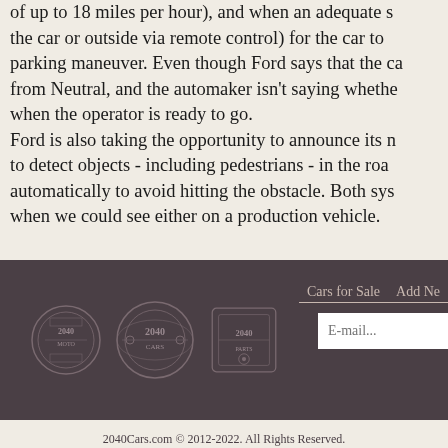of up to 18 miles per hour), and when an adequate space is found (either from the car or outside via remote control) for the car to carry out the parking maneuver. Even though Ford says that the car can shift itself from Neutral, and the automaker isn't saying whether it starts itself when the operator is ready to go. Ford is also taking the opportunity to announce its new system used to detect objects - including pedestrians - in the road ahead, braking automatically to avoid hitting the obstacle. Both systems are prototypes; when we could see either on a production vehicle.
[Figure (logo): Footer bar with three 2040 brand logos (2040 Moto, 2040 Cars, 2040 Parts) on dark brown background, with navigation links 'Cars for Sale' and 'Add Ne...' and an email input field]
2040Cars.com © 2012-2022. All Rights Reserved. Designated trademarks and brands are the property of their respective owners. Use of this Web site constitutes acceptance of the 2040Cars User Agreement and Privacy Policy. 0.045 s, 6736 u